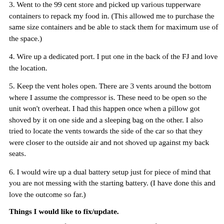home, figured it out ad it works great.)
3. Went to the 99 cent store and picked up various tupperware containers to repack my food in. (This allowed me to purchase the same size containers and be able to stack them for maximum use of the space.)
4. Wire up a dedicated port. I put one in the back of the FJ and love the location.
5. Keep the vent holes open. There are 3 vents around the bottom where I assume the compressor is. These need to be open so the unit won't overheat. I had this happen once when a pillow got shoved by it on one side and a sleeping bag on the other. I also tried to locate the vents towards the side of the car so that they were closer to the outside air and not shoved up against my back seats.
6. I would wire up a dual battery setup just for piece of mind that you are not messing with the starting battery. (I have done this and love the outcome so far.)
Things I would like to fix/update.
1. I want to put a fridge light in it to come on after opening the lid.